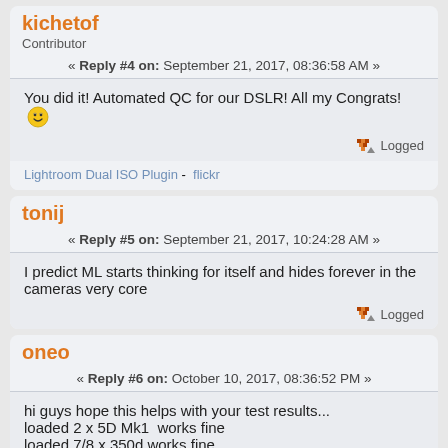kichetof
Contributor
« Reply #4 on: September 21, 2017, 08:36:58 AM »
You did it! Automated QC for our DSLR! All my Congrats! [smiley] Logged
Lightroom Dual ISO Plugin - flickr
tonij
« Reply #5 on: September 21, 2017, 10:24:28 AM »
I predict ML starts thinking for itself and hides forever in the cameras very core
Logged
oneo
« Reply #6 on: October 10, 2017, 08:36:52 PM »
hi guys hope this helps with your test results... loaded 2 x 5D Mk1  works fine loaded 7/8 x 350d works fine loaded 1 x EOS M  works fine